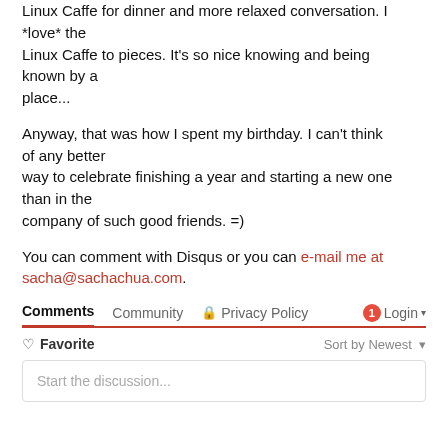Linux Caffe for dinner and more relaxed conversation. I *love* the Linux Caffe to pieces. It's so nice knowing and being known by a place...
Anyway, that was how I spent my birthday. I can't think of any better way to celebrate finishing a year and starting a new one than in the company of such good friends. =)
You can comment with Disqus or you can e-mail me at sacha@sachachua.com.
Comments  Community  🔒 Privacy Policy  1  Login ▾
♡ Favorite   Sort by Newest ▾
Start the discussion...